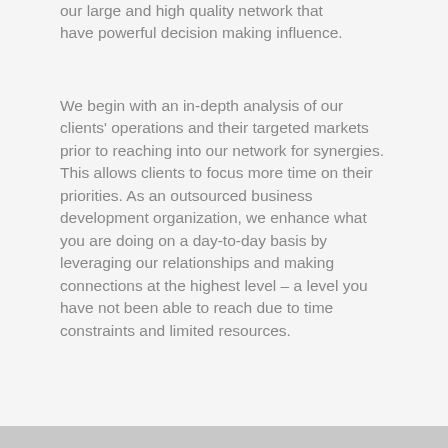our large and high quality network that have powerful decision making influence.
We begin with an in-depth analysis of our clients' operations and their targeted markets prior to reaching into our network for synergies. This allows clients to focus more time on their priorities. As an outsourced business development organization, we enhance what you are doing on a day-to-day basis by leveraging our relationships and making connections at the highest level – a level you have not been able to reach due to time constraints and limited resources.